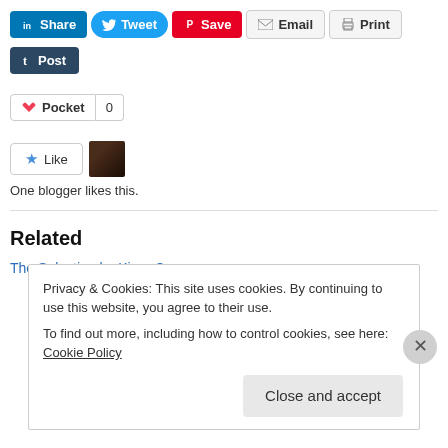[Figure (screenshot): Social sharing buttons: LinkedIn Share, Tweet, Pinterest Save, Email, Print, Tumblr Post]
[Figure (screenshot): Pocket save button with count 0]
[Figure (screenshot): Like button with star icon and blogger avatar thumbnail]
One blogger likes this.
Related
The Selection by Kiera Cass
Privacy & Cookies: This site uses cookies. By continuing to use this website, you agree to their use.
To find out more, including how to control cookies, see here: Cookie Policy
[Figure (screenshot): Close and accept button for cookie banner]